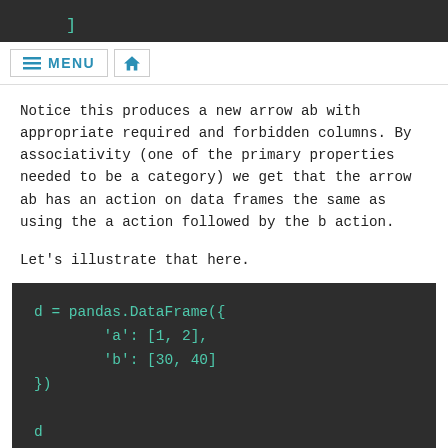]
≡ MENU  🏠
Notice this produces a new arrow ab with appropriate required and forbidden columns. By associativity (one of the primary properties needed to be a category) we get that the arrow ab has an action on data frames the same as using the a action followed by the b action.
Let's illustrate that here.
d = pandas.DataFrame({
        'a': [1, 2],
        'b': [30, 40]
})

d